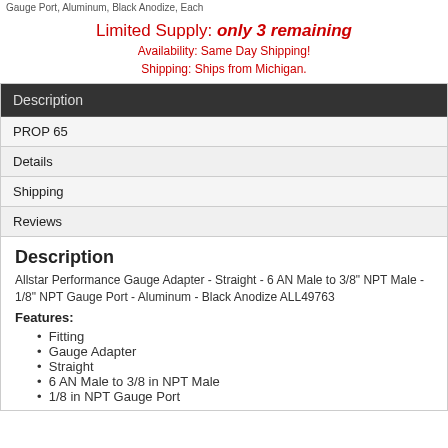Gauge Port, Aluminum, Black Anodize, Each
Limited Supply: only 3 remaining
Availability: Same Day Shipping!
Shipping: Ships from Michigan.
| Description |
| --- |
| PROP 65 |
| Details |
| Shipping |
| Reviews |
Description
Allstar Performance Gauge Adapter - Straight - 6 AN Male to 3/8" NPT Male - 1/8" NPT Gauge Port - Aluminum - Black Anodize ALL49763
Features:
Fitting
Gauge Adapter
Straight
6 AN Male to 3/8 in NPT Male
1/8 in NPT Gauge Port